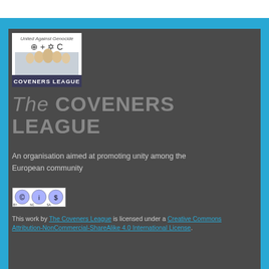[Figure (logo): Coveners League logo with text 'United Against Genocide' and religious symbols, family photo, and 'COVENERS LEAGUE' text]
The COVENERS LEAGUE
An organisation aimed at promoting unity among the European community
[Figure (logo): Creative Commons BY NC SA license badge]
This work by The Coveners League is licensed under a Creative Commons Attribution-NonCommercial-ShareAlike 4.0 International License.